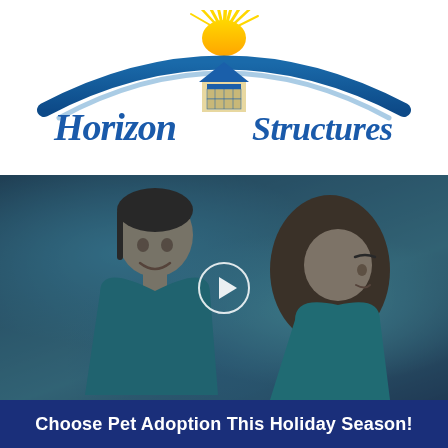[Figure (logo): Horizon Structures logo with sun rays, blue arch, house/garage icon, and cursive script text]
[Figure (photo): Video thumbnail showing two people (a young man in teal shirt and a woman) with a play button overlay, darkened/dimmed photo]
Choose Pet Adoption This Holiday Season!